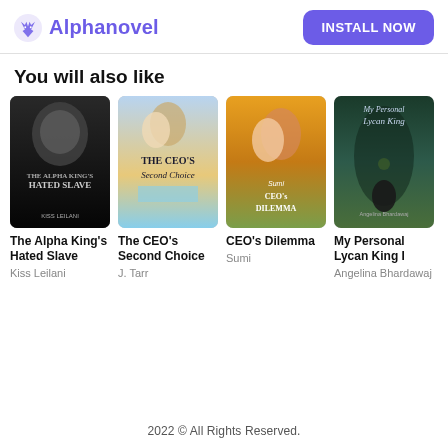Alphanovel  INSTALL NOW
You will also like
[Figure (illustration): Book cover: The Alpha King's Hated Slave by Kiss Leilani — dark dramatic cover with a woman's face]
The Alpha King's Hated Slave
Kiss Leilani
[Figure (illustration): Book cover: The CEO's Second Choice by J. Tarr — romantic couple with city bridge background]
The CEO's Second Choice
J. Tarr
[Figure (illustration): Book cover: CEO's Dilemma by Sumi — couple embracing outdoors in warm light]
CEO's Dilemma
Sumi
[Figure (illustration): Book cover: My Personal Lycan King I by Angelina Bhardawaj — misty forest with wolf silhouette]
My Personal Lycan King I
Angelina Bhardawaj
2022 © All Rights Reserved.